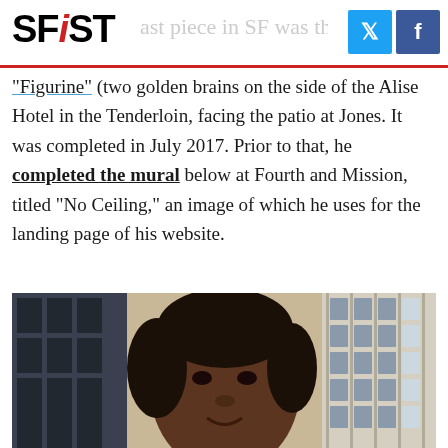SFiST
"Figurine" (two golden brains on the side of the Alise Hotel in the Tenderloin, facing the patio at Jones. It was completed in July 2017. Prior to that, he completed the mural below at Fourth and Mission, titled "No Ceiling," an image of which he uses for the landing page of his website.
[Figure (photo): A mural on the side of a building in San Francisco showing a close-up portrait of a Black woman with short curled hair, smiling slightly. Behind the mural figure is visible an urban cityscape with multi-story buildings with windows.]